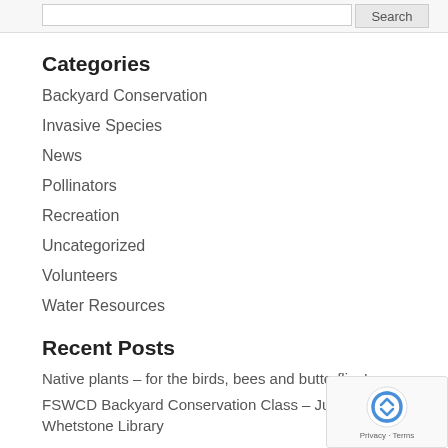Search
Categories
Backyard Conservation
Invasive Species
News
Pollinators
Recreation
Uncategorized
Volunteers
Water Resources
Recent Posts
Native plants – for the birds, bees and butterflies!
FSWCD Backyard Conservation Class – June 28 at Whetstone Library